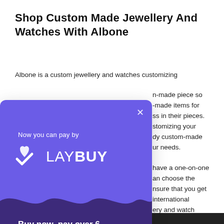Shop Custom Made Jewellery And Watches With Albone
Albone is a custom jewellery and watches customizing n-made piece so -made items for ss in their pieces. stomizing your dy custom-made ur needs.
[Figure (infographic): Laybuy payment modal overlay. Purple background with Laybuy logo (heart-check icon and LAYBUY wordmark). Text: 'Now you can pay by' and 'Buy now, pay over 6 weekly instalments, interest-free.' A close (×) button in top right. Wave divider between light purple top and dark purple bottom.]
have a one-on-one an choose the nsure that you get international ery and watch